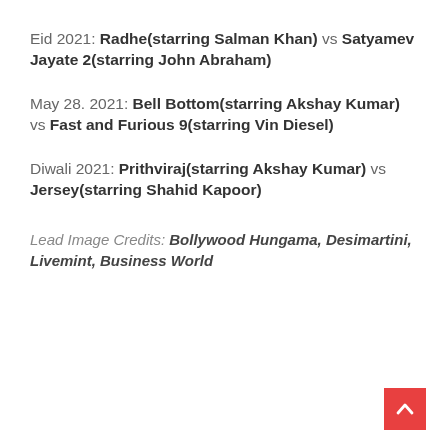Eid 2021: Radhe(starring Salman Khan) vs Satyamev Jayate 2(starring John Abraham)
May 28. 2021: Bell Bottom(starring Akshay Kumar) vs Fast and Furious 9(starring Vin Diesel)
Diwali 2021: Prithviraj(starring Akshay Kumar) vs Jersey(starring Shahid Kapoor)
Lead Image Credits: Bollywood Hungama, Desimartini, Livemint, Business World